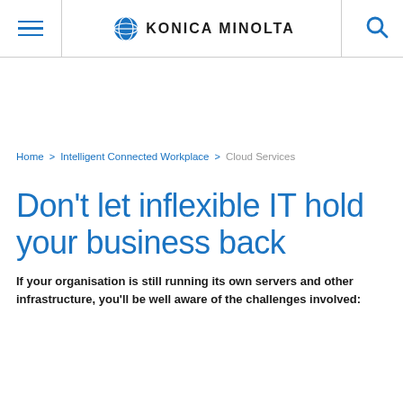[Figure (logo): Konica Minolta logo with hamburger menu icon on left and search icon on right in a navigation header bar]
Home > Intelligent Connected Workplace > Cloud Services
Don't let inflexible IT hold your business back
If your organisation is still running its own servers and other infrastructure, you'll be well aware of the challenges involved: